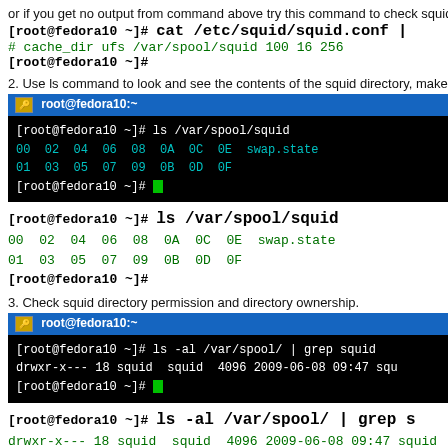or if you get no output from command above try this command to check squid def
[root@fedora10 ~]# cat /etc/squid/squid.conf |
# cache_dir ufs /var/spool/squid 100 16 256
[root@fedora10 ~]#
[Figure (screenshot): Terminal window showing: [root@fedora10 ~]# ls /var/spool/squid with output showing directory listings 00 02 04 06 08 0A 0C 0E swap.state and 01 03 05 07 09 0B 0D 0F]
[root@fedora10 ~]# ls /var/spool/squid
00  02  04  06  08  0A  0C  0E  swap.state
01  03  05  07  09  0B  0D  0F
[root@fedora10 ~]#
3. Check squid directory permission and directory ownership.
[Figure (screenshot): Terminal window showing: [root@fedora10 ~]# ls -al /var/spool/ | grep squid and drwxr-x--- 18 squid  squid  4096 2009-06-08 09:47 squ]
[root@fedora10 ~]# ls -al /var/spool/ | grep s
drwxr-x--- 18 squid  squid  4096 2009-06-08 09:47 squid